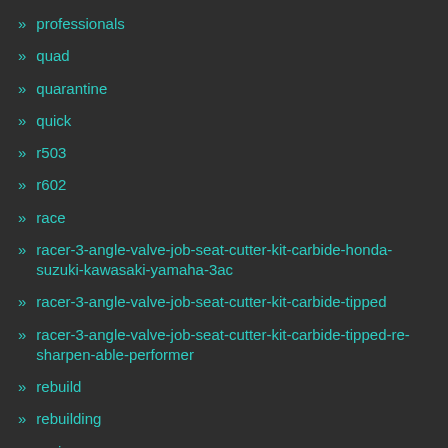professionals
quad
quarantine
quick
r503
r602
race
racer-3-angle-valve-job-seat-cutter-kit-carbide-honda-suzuki-kawasaki-yamaha-3ac
racer-3-angle-valve-job-seat-cutter-kit-carbide-tipped
racer-3-angle-valve-job-seat-cutter-kit-carbide-tipped-re-sharpen-able-performer
rebuild
rebuilding
regis